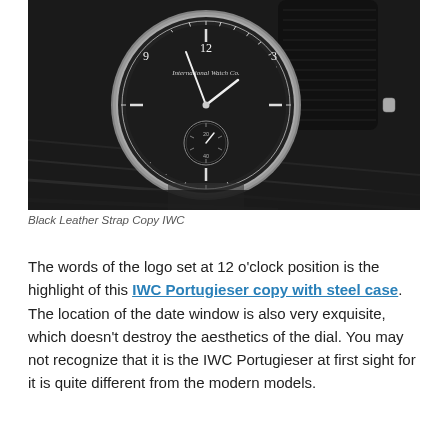[Figure (photo): Black and white photograph of an IWC Portugieser watch with black dial, sub-dial at 6 o'clock, and black leather strap, resting on a textured surface.]
Black Leather Strap Copy IWC
The words of the logo set at 12 o'clock position is the highlight of this IWC Portugieser copy with steel case. The location of the date window is also very exquisite, which doesn't destroy the aesthetics of the dial. You may not recognize that it is the IWC Portugieser at first sight for it is quite different from the modern models.